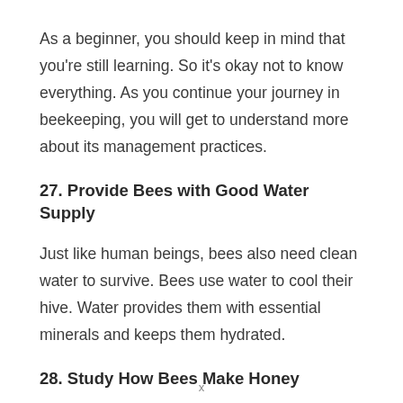As a beginner, you should keep in mind that you're still learning. So it's okay not to know everything. As you continue your journey in beekeeping, you will get to understand more about its management practices.
27. Provide Bees with Good Water Supply
Just like human beings, bees also need clean water to survive. Bees use water to cool their hive. Water provides them with essential minerals and keeps them hydrated.
28. Study How Bees Make Honey
Learn each step bees take to make honey. From how they collect nectar to how they store and process it.
x